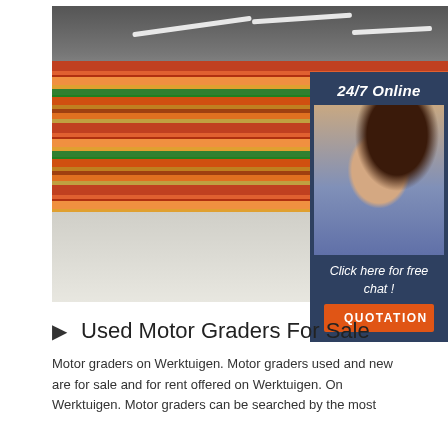[Figure (photo): Supermarket shelves stocked with colorful packaged goods viewed in perspective, with fluorescent ceiling lights. A 24/7 online chat widget is overlaid in the top-right corner showing a female customer service representative wearing a headset, with text 'Click here for free chat!' and an orange 'QUOTATION' button on a dark blue background.]
▶ Used Motor Graders For Sale
Motor graders on Werktuigen. Motor graders used and new are for sale and for rent offered on Werktuigen. On Werktuigen. Motor graders can be searched by the most